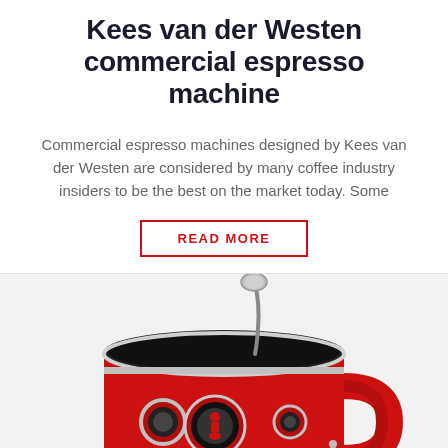Kees van der Westen commercial espresso machine
Commercial espresso machines designed by Kees van der Westen are considered by many coffee industry insiders to be the best on the market today. Some
READ MORE
[Figure (photo): Red Bialetti espresso machine / coffee maker shaped like a stylized red mug with chrome accents, circular porthole-style details, a black lid, and a silver spoon resting on top.]